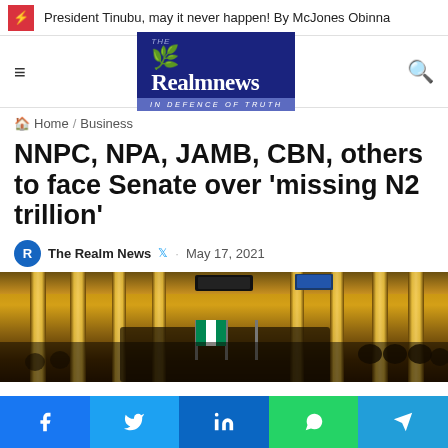President Tinubu, may it never happen! By McJones Obinna
[Figure (logo): The Realm News logo - blue background with white serif text, tagline IN DEFENCE OF TRUTH]
Home / Business
NNPC, NPA, JAMB, CBN, others to face Senate over 'missing N2 trillion'
The Realm News · May 17, 2021
[Figure (photo): Interior of Nigeria Senate chamber showing wooden paneling with vertical golden pillars, flags, and seated officials]
Share buttons: Facebook, Twitter, LinkedIn, WhatsApp, Telegram